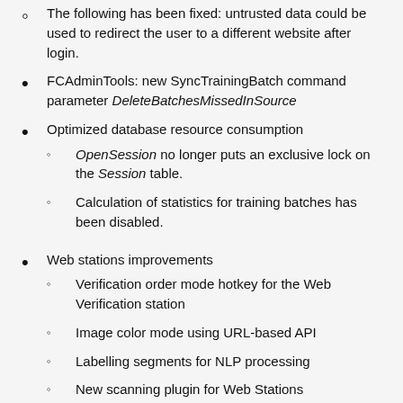The following has been fixed: untrusted data could be used to redirect the user to a different website after login.
FCAdminTools: new SyncTrainingBatch command parameter DeleteBatchesMissedInSource
Optimized database resource consumption
OpenSession no longer puts an exclusive lock on the Session table.
Calculation of statistics for training batches has been disabled.
Web stations improvements
Verification order mode hotkey for the Web Verification station
Image color mode using URL-based API
Labelling segments for NLP processing
New scanning plugin for Web Stations